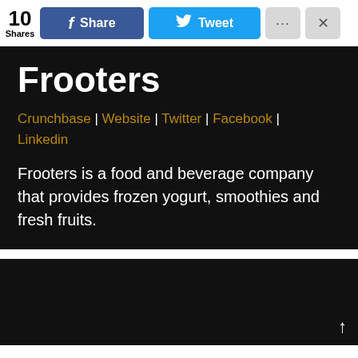10 Shares | f Share | Tweet | ... | X
Frooters
Crunchbase | Website | Twitter | Facebook | Linkedin
Frooters is a food and beverage company that provides frozen yogurt, smoothies and fresh fruits.
[Figure (other): Black panel at the bottom of the page with an up-arrow icon in the bottom-right corner]